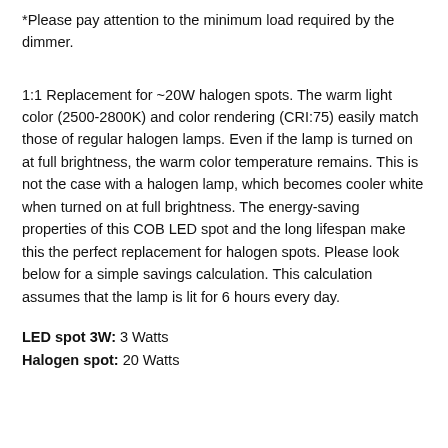*Please pay attention to the minimum load required by the dimmer.
1:1 Replacement for ~20W halogen spots. The warm light color (2500-2800K) and color rendering (CRI:75) easily match those of regular halogen lamps. Even if the lamp is turned on at full brightness, the warm color temperature remains. This is not the case with a halogen lamp, which becomes cooler white when turned on at full brightness. The energy-saving properties of this COB LED spot and the long lifespan make this the perfect replacement for halogen spots. Please look below for a simple savings calculation. This calculation assumes that the lamp is lit for 6 hours every day.
LED spot 3W: 3 Watts
Halogen spot: 20 Watts